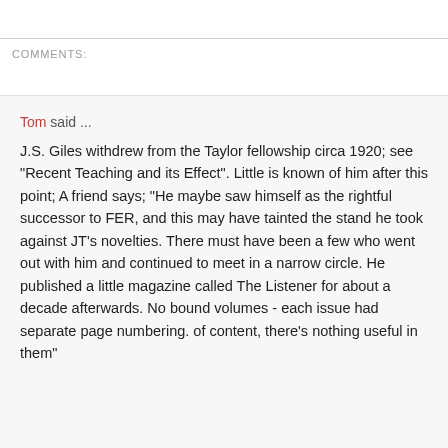COMMENTS:
Tom said …
J.S. Giles withdrew from the Taylor fellowship circa 1920; see "Recent Teaching and its Effect". Little is known of him after this point; A friend says; "He maybe saw himself as the rightful successor to FER, and this may have tainted the stand he took against JT's novelties. There must have been a few who went out with him and continued to meet in a narrow circle. He published a little magazine called The Listener for about a decade afterwards. No bound volumes - each issue had separate page numbering. of content, there's nothing useful in them"